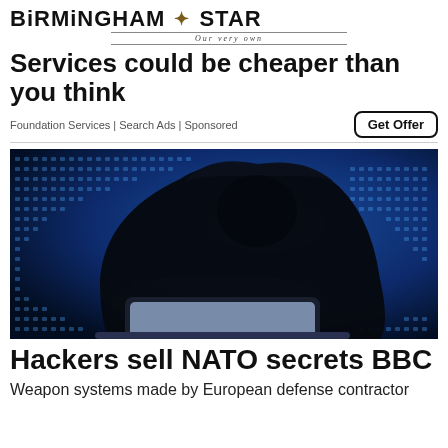BIRMINGHAM STAR — Our very own
Services could be cheaper than you think
Foundation Services | Search Ads | Sponsored
[Figure (photo): Silhouette of a hooded hacker figure working on a laptop against a blue digital background with glowing code patterns]
Hackers sell NATO secrets BBC
Weapon systems made by European defense contractor